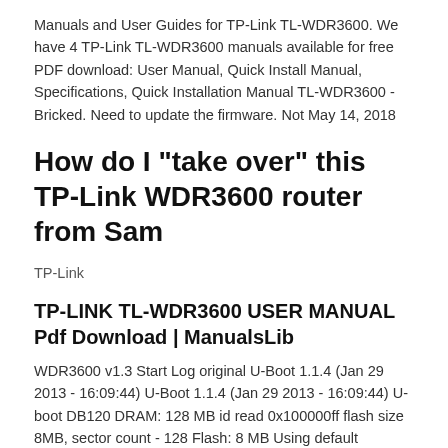Manuals and User Guides for TP-Link TL-WDR3600. We have 4 TP-Link TL-WDR3600 manuals available for free PDF download: User Manual, Quick Install Manual, Specifications, Quick Installation Manual TL-WDR3600 - Bricked. Need to update the firmware. Not May 14, 2018
How do I "take over" this TP-Link WDR3600 router from Sam
TP-Link
TP-LINK TL-WDR3600 USER MANUAL Pdf Download | ManualsLib
WDR3600 v1.3 Start Log original U-Boot 1.1.4 (Jan 29 2013 - 16:09:44) U-Boot 1.1.4 (Jan 29 2013 - 16:09:44) U-boot DB120 DRAM: 128 MB id read 0x100000ff flash size 8MB, sector count - 128 Flash: 8 MB Using default environment PCIe Reset